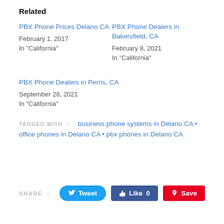Related
PBX Phone Prices Delano CA
February 1, 2017
In "California"
PBX Phone Dealers in Bakersfield, CA
February 8, 2021
In "California"
PBX Phone Dealers in Perris, CA
September 28, 2021
In "California"
TAGGED WITH → business phone systems in Delano CA • office phones in Delano CA • pbx phones in Delano CA
SHARE → Tweet  Like 0  Save